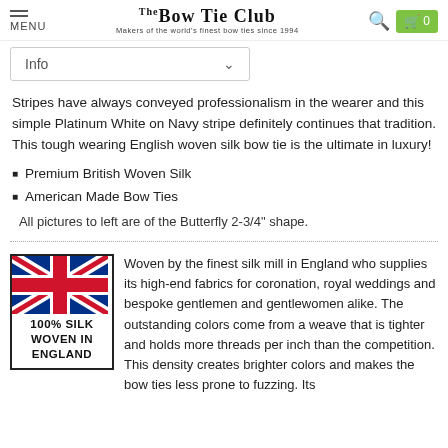THE BOW TIE CLUB — Makers of the world's finest bow ties since 1994
Info
Stripes have always conveyed professionalism in the wearer and this simple Platinum White on Navy stripe definitely continues that tradition. This tough wearing English woven silk bow tie is the ultimate in luxury!
Premium British Woven Silk
American Made Bow Ties
All pictures to left are of the Butterfly 2-3/4" shape.
[Figure (logo): Union Jack flag with text: 100% SILK WOVEN IN ENGLAND]
Woven by the finest silk mill in England who supplies its high-end fabrics for coronation, royal weddings and bespoke gentlemen and gentlewomen alike. The outstanding colors come from a weave that is tighter and holds more threads per inch than the competition. This density creates brighter colors and makes the bow ties less prone to fuzzing. Its